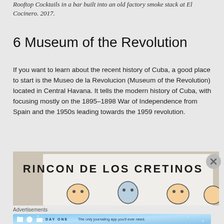Rooftop Cocktails in a bar built into an old factory smoke stack at El Cocinero. 2017.
6 Museum of the Revolution
If you want to learn about the recent history of Cuba, a good place to start is the Museo de la Revolucion (Museum of the Revolution) located in Central Havana. It tells the modern history of Cuba, with focusing mostly on the 1895–1898 War of Independence from Spain and the 1950s leading towards the 1959 revolution.
[Figure (photo): Photo showing a display at the Museum of the Revolution reading 'RINCON DE LOS CRETINOS' with cartoon figures below]
Advertisements
[Figure (screenshot): Advertisement banner for Day One journaling app reading 'The only journaling app you'll ever need.']